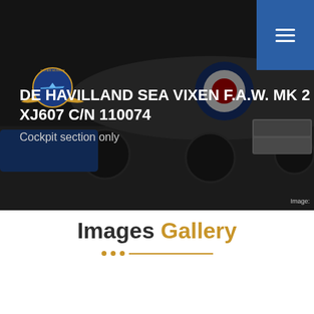[Figure (screenshot): Hero background image showing a de Havilland Sea Vixen aircraft on a tarmac with Ground crew vehicle visible. RAF roundel on fuselage. Dark overlay applied.]
DE HAVILLAND SEA VIXEN F.A.W. MK 2
XJ607 C/N 110074
Cockpit section only
Image:
Images Gallery